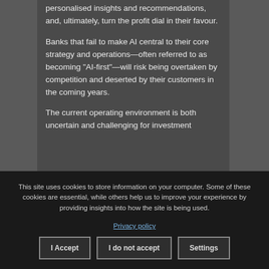personalised insights and recommendations, and, ultimately, turn the profit dial in their favour.
Banks that fail to make AI central to their core strategy and operations—often referred to as becoming “AI-first”—will risk being overtaken by competition and deserted by their customers in the coming years.
The current operating environment is both uncertain and challenging for investment
This site uses cookies to store information on your computer. Some of these cookies are essential, while others help us to improve your experience by providing insights into how the site is being used.
Privacy policy
I Accept
I do not accept
Settings